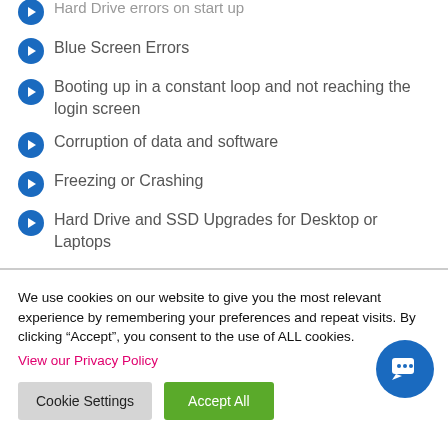Hard Drive errors on start up
Blue Screen Errors
Booting up in a constant loop and not reaching the login screen
Corruption of data and software
Freezing or Crashing
Hard Drive and SSD Upgrades for Desktop or Laptops
We use cookies on our website to give you the most relevant experience by remembering your preferences and repeat visits. By clicking “Accept”, you consent to the use of ALL cookies.
View our Privacy Policy